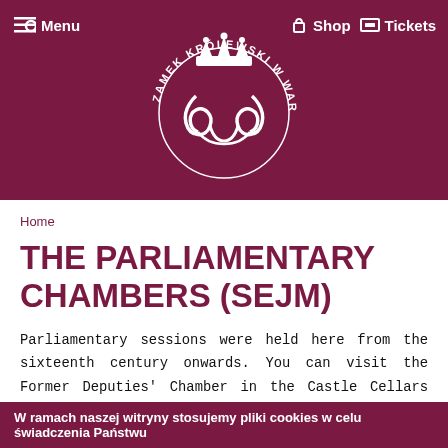[Figure (logo): Zamek Królewski w Warszawie circular logo with crown and decorative scrollwork, white on dark maroon background. Header also contains Menu button on left and Shop/Tickets buttons on right.]
Home
THE PARLIAMENTARY CHAMBERS (SEJM)
Parliamentary sessions were held here from the sixteenth century onwards. You can visit the Former Deputies' Chamber in the Castle Cellars and the New Deputies' Chamber and the Senators' Chamber located on the first
W ramach naszej witryny stosujemy pliki cookies w celu świadczenia Państwu